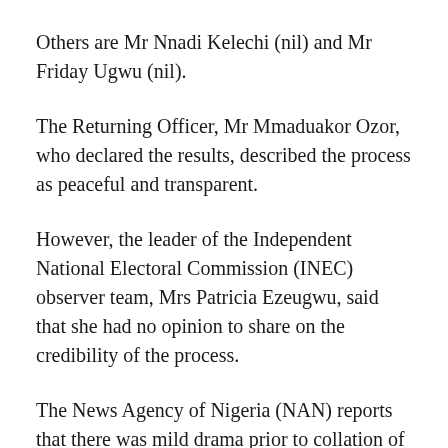Others are Mr Nnadi Kelechi (nil) and Mr Friday Ugwu (nil).
The Returning Officer, Mr Mmaduakor Ozor, who declared the results, described the process as peaceful and transparent.
However, the leader of the Independent National Electoral Commission (INEC) observer team, Mrs Patricia Ezeugwu, said that she had no opinion to share on the credibility of the process.
The News Agency of Nigeria (NAN) reports that there was mild drama prior to collation of results when a supporter of the winner of the primaries announced himself as the agent of Phillips.